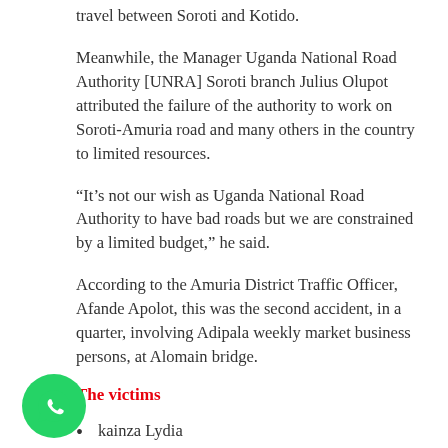travel between Soroti and Kotido.
Meanwhile, the Manager Uganda National Road Authority [UNRA] Soroti branch Julius Olupot attributed the failure of the authority to work on Soroti-Amuria road and many others in the country to limited resources.
“It’s not our wish as Uganda National Road Authority to have bad roads but we are constrained by a limited budget,” he said.
According to the Amuria District Traffic Officer, Afande Apolot, this was the second accident, in a quarter, involving Adipala weekly market business persons, at Alomain bridge.
The victims
kainza Lydia
ukonde Muhamed
atisi Sylvia